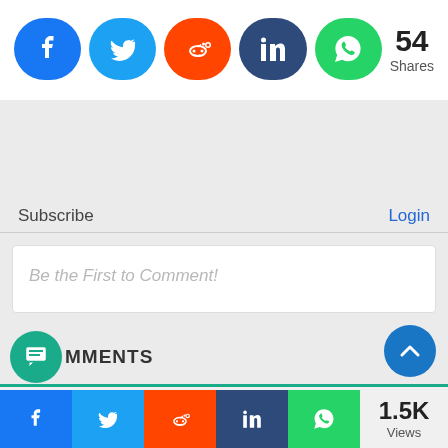[Figure (screenshot): Social share buttons: Facebook (blue rounded), Twitter (light blue rounded), Reddit (orange rounded), LinkedIn (dark blue rounded), WhatsApp (green rounded), with 54 Shares count]
54 Shares
Subscribe
Login
Be the First to Comment!
COMMENTS
1.5K Views
[Figure (screenshot): Bottom social share bar with Facebook, Twitter, Reddit, LinkedIn, WhatsApp icons and 1.5K Views]